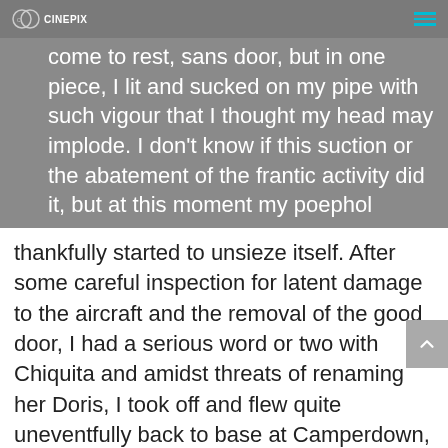Cinepix logo and hamburger menu
threatening to go under the wheel having come to rest, sans door, but in one piece, I lit and sucked on my pipe with such vigour that I thought my head may implode. I don't know if this suction or the abatement of the frantic activity did it, but at this moment my poephol thankfully started to unsieze itself. After some careful inspection for latent damage to the aircraft and the removal of the good door, I had a serious word or two with Chiquita and amidst threats of renaming her Doris, I took off and flew quite uneventfully back to base at Camperdown, some 40kms away. Door and ego repairs are currently well underway.

I have specifically omitted to mention my